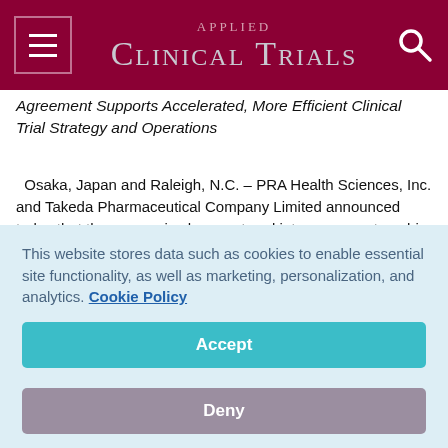Applied Clinical Trials
Agreement Supports Accelerated, More Efficient Clinical Trial Strategy and Operations
Osaka, Japan and Raleigh, N.C. – PRA Health Sciences, Inc. and Takeda Pharmaceutical Company Limited announced today that the companies have entered into a new partnership agreement under which PRA Health Sciences (PRA) will serve as Takeda's primary strategic partner to deliver on the
This website stores data such as cookies to enable essential site functionality, as well as marketing, personalization, and analytics. Cookie Policy
Accept
Deny